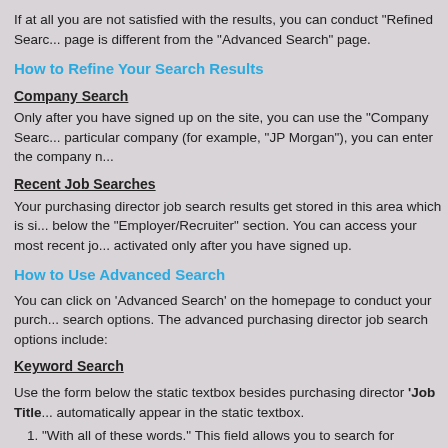If at all you are not satisfied with the results, you can conduct "Refined Search... page is different from the "Advanced Search" page.
How to Refine Your Search Results
Company Search
Only after you have signed up on the site, you can use the "Company Search... particular company (for example, "JP Morgan"), you can enter the company n...
Recent Job Searches
Your purchasing director job search results get stored in this area which is si... below the "Employer/Recruiter" section. You can access your most recent jo... activated only after you have signed up.
How to Use Advanced Search
You can click on 'Advanced Search' on the homepage to conduct your purch... search options. The advanced purchasing director job search options include:
Keyword Search
Use the form below the static textbox besides purchasing director 'Job Title... automatically appear in the static textbox.
1. "With all of these words." This field allows you to search for purchasing... keywords you have specified. For example, if you type in "Investment R...